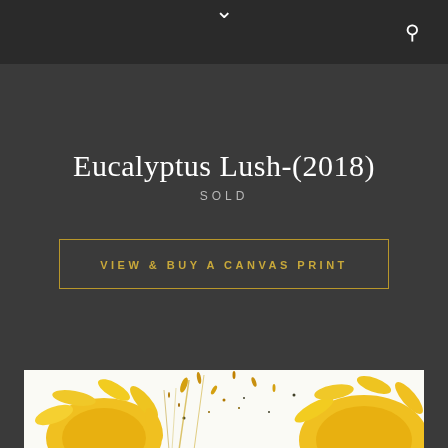navigation bar with chevron and search icon
Eucalyptus Lush-(2018)
SOLD
VIEW & BUY A CANVAS PRINT
[Figure (photo): Close-up painting/photo of yellow flowers with splattered paint effect on white background, cropped at bottom of page]